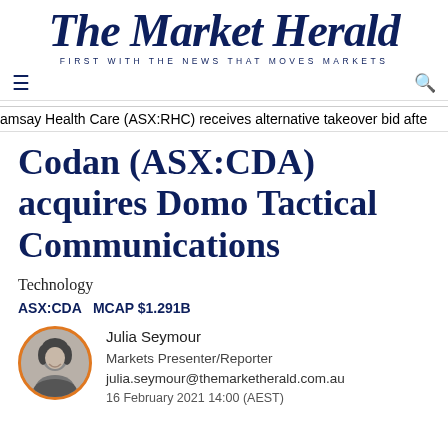The Market Herald
FIRST WITH THE NEWS THAT MOVES MARKETS
amsay Health Care (ASX:RHC) receives alternative takeover bid afte
Codan (ASX:CDA) acquires Domo Tactical Communications
Technology
ASX:CDA   MCAP $1.291B
Julia Seymour
Markets Presenter/Reporter
julia.seymour@themarketherald.com.au
16 February 2021 14:00 (AEST)